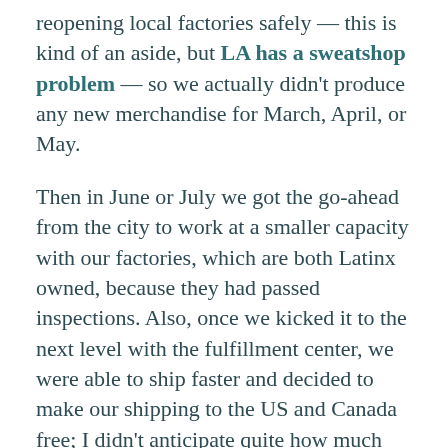reopening local factories safely — this is kind of an aside, but LA has a sweatshop problem — so we actually didn't produce any new merchandise for March, April, or May.
Then in June or July we got the go-ahead from the city to work at a smaller capacity with our factories, which are both Latinx owned, because they had passed inspections. Also, once we kicked it to the next level with the fulfillment center, we were able to ship faster and decided to make our shipping to the US and Canada free; I didn't anticipate quite how much growth that would allow us to have. It was a perfect storm of all those things.
Honestly, I started to feel kind of overwhelmed by it. We've tried really hard to do slow, sustained growth